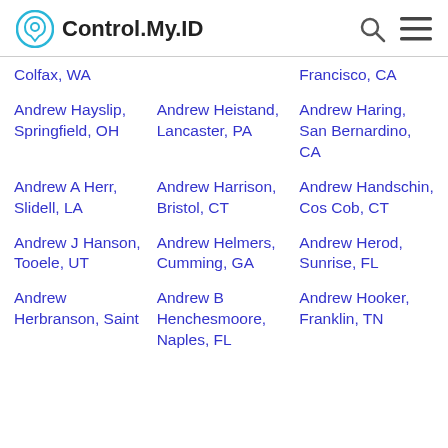Control.My.ID
Colfax, WA
Francisco, CA
Andrew Hayslip, Springfield, OH
Andrew Heistand, Lancaster, PA
Andrew Haring, San Bernardino, CA
Andrew A Herr, Slidell, LA
Andrew Harrison, Bristol, CT
Andrew Handschin, Cos Cob, CT
Andrew J Hanson, Tooele, UT
Andrew Helmers, Cumming, GA
Andrew Herod, Sunrise, FL
Andrew Herbranson, Saint
Andrew B Henchesmoore, Naples, FL
Andrew Hooker, Franklin, TN